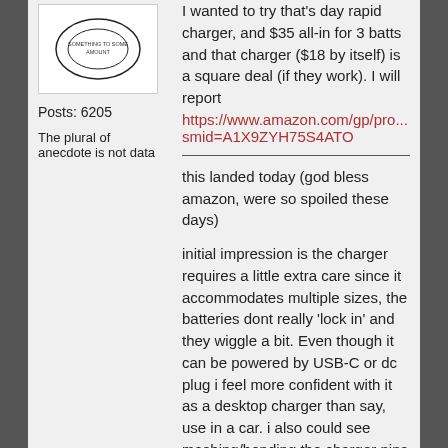[Figure (illustration): Circular avatar/logo image with text inside, shown in a white box]
Posts: 6205
The plural of anecdote is not data
I wanted to try that's day rapid charger, and $35 all-in for 3 batts and that charger ($18 by itself) is a square deal (if they work). I will report https://www.amazon.com/gp/pro...smid=A1X9ZYH75S4ATO
this landed today (god bless amazon, were so spoiled these days)
initial impression is the charger requires a little extra care since it accommodates multiple sizes, the batteries dont really 'lock in' and they wiggle a bit. Even though it can be powered by USB-C or dc plug i feel more confident with it as a desktop charger than say, use in a car. i also could see mashing/bending the charger pins while loading a battery in a hurry some day